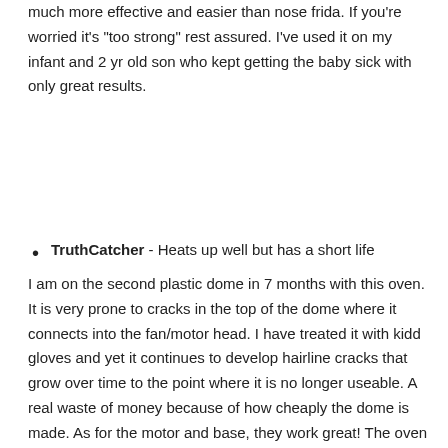much more effective and easier than nose frida. If you're worried it's "too strong" rest assured. I've used it on my infant and 2 yr old son who kept getting the baby sick with only great results.
TruthCatcher - Heats up well but has a short life
I am on the second plastic dome in 7 months with this oven. It is very prone to cracks in the top of the dome where it connects into the fan/motor head. I have treated it with kidd gloves and yet it continues to develop hairline cracks that grow over time to the point where it is no longer useable. A real waste of money because of how cheaply the dome is made. As for the motor and base, they work great! The oven heats quickly and seems to heat evenly. It's just sad that the dome needs replacing every 5 to 8 months, and the dome replacement is NOT cheap. I will be looking for a glass domed traditional convection oven next, very soon. This product has a lot of potential, but this issue